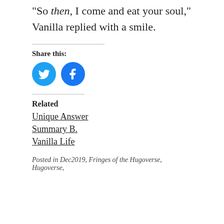“So then, I come and eat your soul,” Vanilla replied with a smile.
Share this:
[Figure (infographic): Twitter and Facebook social share circular icon buttons in blue]
Related
Unique Answer
Summary B.
Vanilla Life
Posted in Dec2019, Fringes of the Hugoverse, Hugoverse,